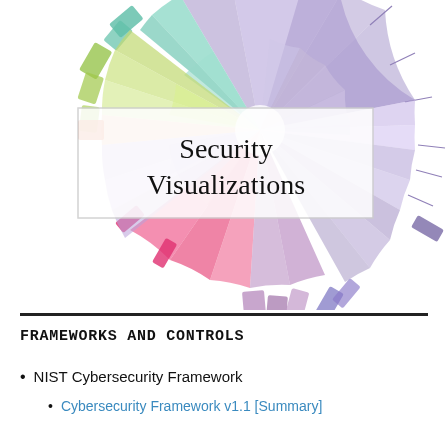[Figure (infographic): A colorful sunburst/radar style circular diagram showing security framework categories in multiple colors (purple, pink, teal, yellow-green, orange, lavender, mauve), with radial segments and tick marks. Overlaid with a semi-transparent white box containing the title 'Security Visualizations'.]
Security Visualizations
FRAMEWORKS AND CONTROLS
NIST Cybersecurity Framework
Cybersecurity Framework v1.1 [Summary]